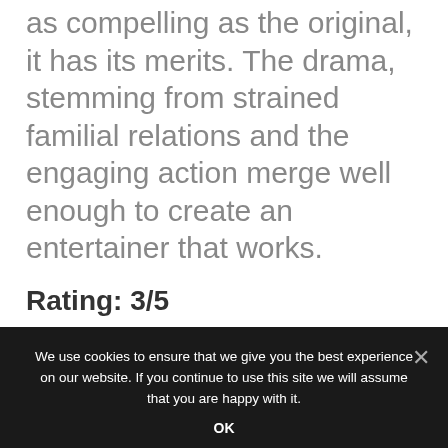as compelling as the original, it has its merits. The drama, stemming from strained familial relations and the engaging action merge well enough to create an entertainer that works.
Rating: 3/5
[Figure (logo): Three social media icons side by side: Facebook (blue square with white f), Twitter (light blue square with white bird), Instagram (light brown/cream square with colorful camera icon)]
We use cookies to ensure that we give you the best experience on our website. If you continue to use this site we will assume that you are happy with it.
OK